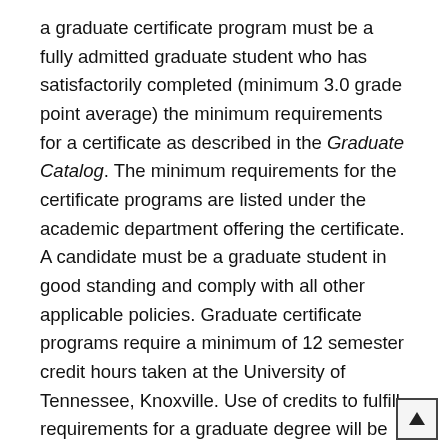a graduate certificate program must be a fully admitted graduate student who has satisfactorily completed (minimum 3.0 grade point average) the minimum requirements for a certificate as described in the Graduate Catalog. The minimum requirements for the certificate programs are listed under the academic department offering the certificate. A candidate must be a graduate student in good standing and comply with all other applicable policies. Graduate certificate programs require a minimum of 12 semester credit hours taken at the University of Tennessee, Knoxville. Use of credits to fulfill requirements for a graduate degree will be at the discretion of the academic department.
To receive the certificate, students must submit a Completion of Certificate Program Form endorsed by the academic department to the Graduate School. Sub the